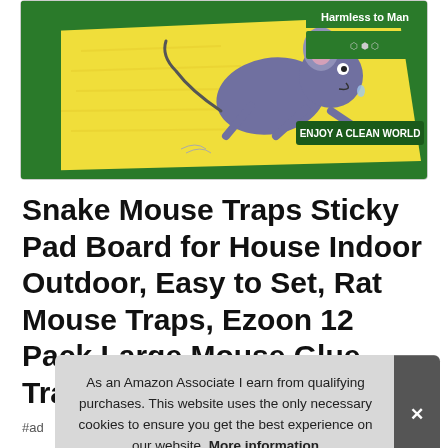[Figure (illustration): Product image of a mouse glue trap (sticky pad board) showing a cartoon mouse running on a yellow sticky surface with green borders. Text on the package reads 'Harmless to Man' and 'ENJOY A CLEAN WORLD'.]
Snake Mouse Traps Sticky Pad Board for House Indoor Outdoor, Easy to Set, Rat Mouse Traps, Ezoon 12 Pack Large Mouse Glue Traps with Enhanced Sti
#ad
As an Amazon Associate I earn from qualifying purchases. This website uses the only necessary cookies to ensure you get the best experience on our website. More information